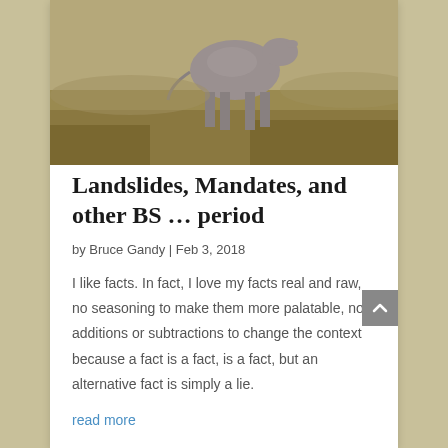[Figure (photo): A cow standing in a dry golden-grass field, photographed from behind/side angle]
Landslides, Mandates, and other BS … period
by Bruce Gandy | Feb 3, 2018
I like facts. In fact, I love my facts real and raw, no seasoning to make them more palatable, no additions or subtractions to change the context because a fact is a fact, is a fact, but an alternative fact is simply a lie.
read more